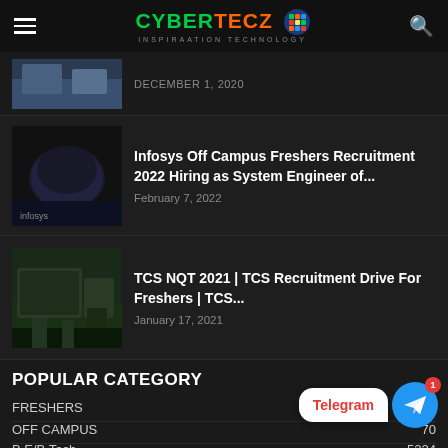CYBERTECZ INSPIRATION TECHNOLOGY
December 1, 2020
Infosys Off Campus Freshers Recruitment 2022 Hiring as System Engineer of...
February 7, 2022
TCS NQT 2021 | TCS Recruitment Drive For Freshers | TCS...
January 17, 2021
POPULAR CATEGORY
FRESHERS 5403
OFF CAMPUS 70
B.E/B.Tech 5224
CS/IT E... 5100